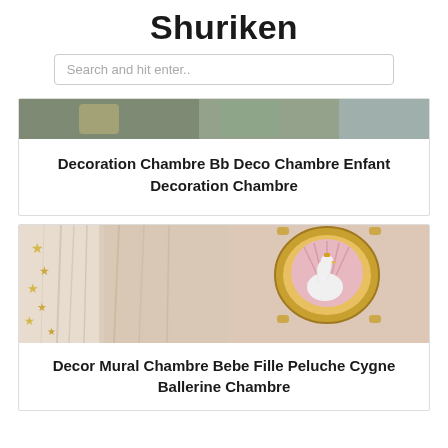Shuriken
Search and hit enter..
[Figure (photo): Partial top image of a decorated children's room, cropped at top]
Decoration Chambre Bb Deco Chambre Enfant Decoration Chambre
[Figure (photo): Nursery room decoration with white canopy curtains, gold star garland, and an ornate gold oval frame on the wall featuring a white swan with pink feather fan backdrop]
Decor Mural Chambre Bebe Fille Peluche Cygne Ballerine Chambre